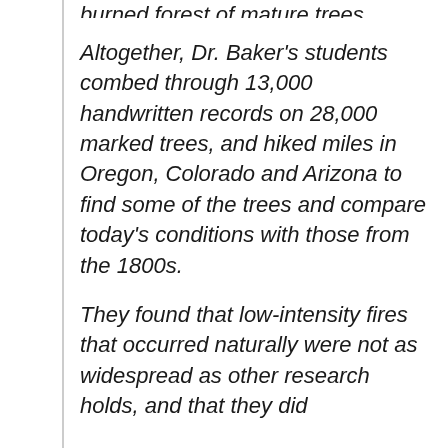burned forest of mature trees.
Altogether, Dr. Baker's students combed through 13,000 handwritten records on 28,000 marked trees, and hiked miles in Oregon, Colorado and Arizona to find some of the trees and compare today's conditions with those from the 1800s.
They found that low-intensity fires that occurred naturally were not as widespread as other research holds, and that they did